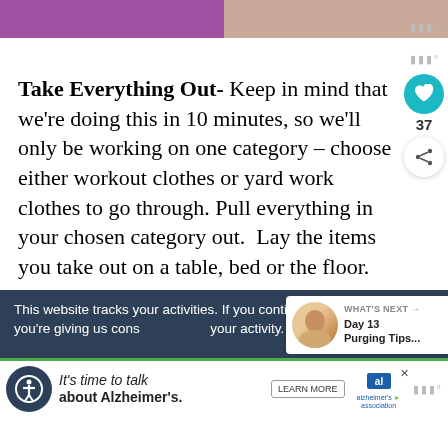[Figure (photo): Top image bar with purple and brown/peach colors, partially cropped]
Take Everything Out- Keep in mind that we're doing this in 10 minutes, so we'll only be working on one category – choose either workout clothes or yard work clothes to go through. Pull everything in your chosen category out.  Lay the items you take out on a table, bed or the floor.
This website tracks your activities. If you continue browsing the site, you're giving us consent to track your activity.
WHAT'S NEXT → Day 13 Purging Tips...
[Figure (photo): Alzheimer's Association advertisement - It's time to talk about Alzheimer's. Learn More button with logo.]